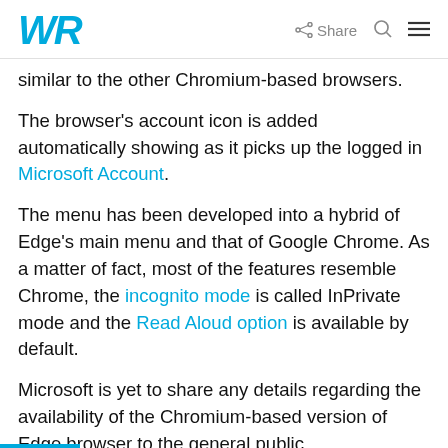WR | Share
similar to the other Chromium-based browsers.
The browser's account icon is added automatically showing as it picks up the logged in Microsoft Account.
The menu has been developed into a hybrid of Edge's main menu and that of Google Chrome. As a matter of fact, most of the features resemble Chrome, the incognito mode is called InPrivate mode and the Read Aloud option is available by default.
Microsoft is yet to share any details regarding the availability of the Chromium-based version of Edge browser to the general public.